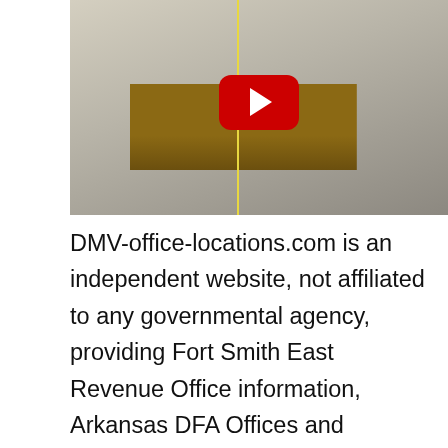[Figure (screenshot): YouTube video thumbnail showing people at a DMV/revenue office counter. A YouTube play button (red rounded rectangle with white triangle) is overlaid in the center.]
DMV-office-locations.com is an independent website, not affiliated to any governmental agency, providing Fort Smith East Revenue Office information, Arkansas DFA Offices and additional DMV agencies and offices nationwide, phone numbers, address, and DMV appointments. To send us new information for Fort Smith East Revenue Office, please reach out and send us a